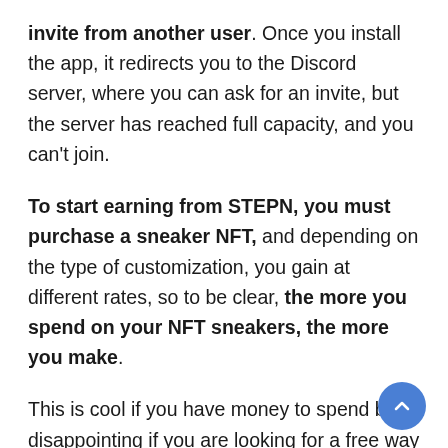invite from another user. Once you install the app, it redirects you to the Discord server, where you can ask for an invite, but the server has reached full capacity, and you can't join.
To start earning from STEPN, you must purchase a sneaker NFT, and depending on the type of customization, you gain at different rates, so to be clear, the more you spend on your NFT sneakers, the more you make.
This is cool if you have money to spend but disappointing if you are looking for a free way to earn by walking.